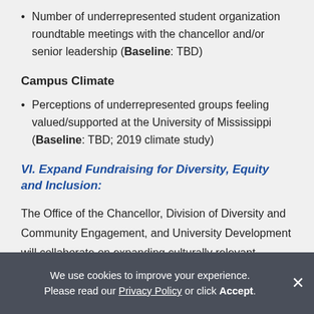Number of underrepresented student organization roundtable meetings with the chancellor and/or senior leadership (Baseline: TBD)
Campus Climate
Perceptions of underrepresented groups feeling valued/supported at the University of Mississippi (Baseline: TBD; 2019 climate study)
VI. Expand Fundraising for Diversity, Equity and Inclusion:
The Office of the Chancellor, Division of Diversity and Community Engagement, and University Development will collaborate on expanding culturally relevant avenues for giving to invest in Pathways to Equity and other diversity,
We use cookies to improve your experience. Please read our Privacy Policy or click Accept.